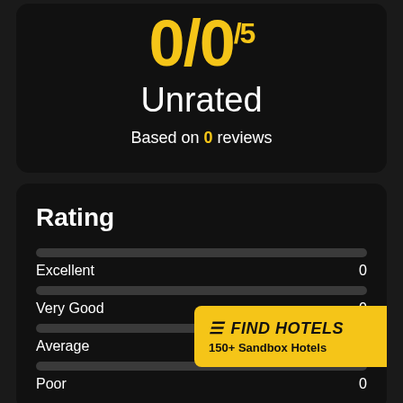0/0/5
Unrated
Based on 0 reviews
Rating
Excellent 0
Very Good 0
Average 0
Poor 0
≡ FIND HOTELS
150+ Sandbox Hotels